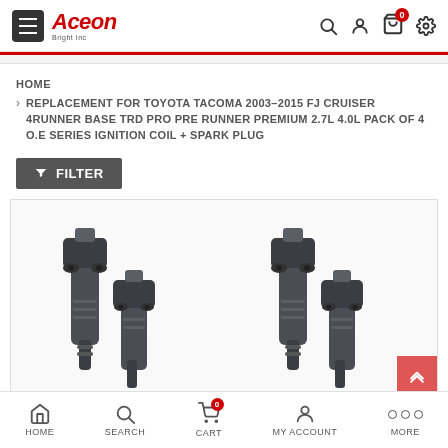Aceon Bright Inc — navigation bar with hamburger menu, logo, and icons
HOME
REPLACEMENT FOR TOYOTA TACOMA 2003-2015 FJ CRUISER 4RUNNER BASE TRD PRO PRE RUNNER PREMIUM 2.7L 4.0L PACK OF 4 O.E SERIES IGNITION COIL + SPARK PLUG
[Figure (screenshot): Filter button with funnel icon labeled FILTER]
[Figure (photo): Product photo showing four dark gray ignition coils arranged in pairs]
HOME | SEARCH | CART (0) | MY ACCOUNT | MORE